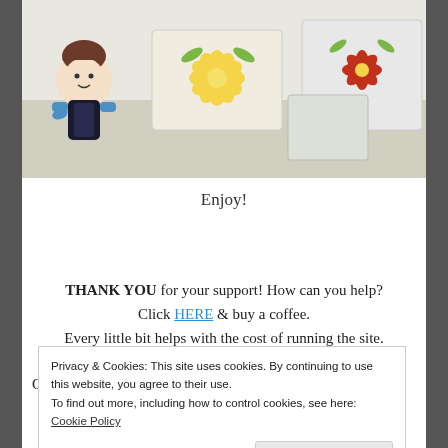[Figure (photo): Photo of decorated gift boxes with floral patterns (poinsettia, dahlia flowers) and a cartoon avatar of a woman in a black apron in the top-left corner.]
Enjoy!
[Figure (other): Buy me a coffee button — teal/blue rounded rectangle with white coffee cup icon and heart, text reads 'Buy me a coffee']
THANK YOU for your support! How can you help? Click HERE & buy a coffee. Every little bit helps with the cost of running the site.
Or if you are looking for more in-depth, step-by-step classes
Privacy & Cookies: This site uses cookies. By continuing to use this website, you agree to their use. To find out more, including how to control cookies, see here: Cookie Policy
Close and accept
Buy Me